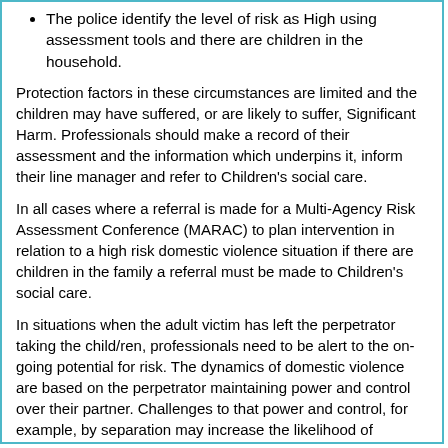The police identify the level of risk as High using assessment tools and there are children in the household.
Protection factors in these circumstances are limited and the children may have suffered, or are likely to suffer, Significant Harm. Professionals should make a record of their assessment and the information which underpins it, inform their line manager and refer to Children's social care.
In all cases where a referral is made for a Multi-Agency Risk Assessment Conference (MARAC) to plan intervention in relation to a high risk domestic violence situation if there are children in the family a referral must be made to Children's social care.
In situations when the adult victim has left the perpetrator taking the child/ren, professionals need to be alert to the on-going potential for risk. The dynamics of domestic violence are based on the perpetrator maintaining power and control over their partner. Challenges to that power and control, for example, by separation may increase the likelihood of escalating violence. Statistically the period following separation is the most dangerous time for serious injury and death. Professionals in contact with